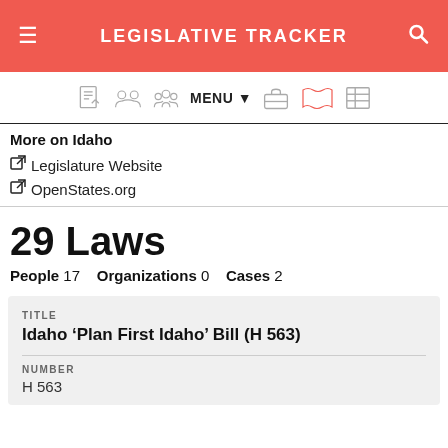LEGISLATIVE TRACKER
More on Idaho
Legislature Website
OpenStates.org
29 Laws
People 17   Organizations 0   Cases 2
| TITLE | NUMBER |
| --- | --- |
| Idaho ‘Plan First Idaho’ Bill (H 563) | H 563 |